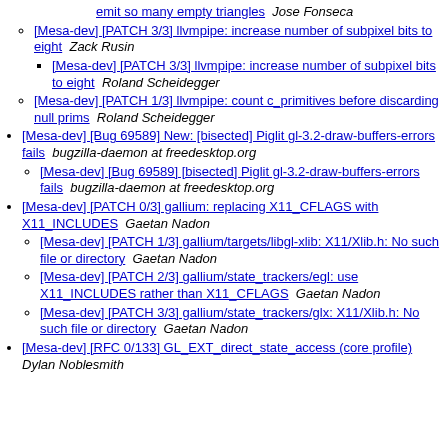emit so many empty triangles  Jose Fonseca
[Mesa-dev] [PATCH 3/3] llvmpipe: increase number of subpixel bits to eight  Zack Rusin
[Mesa-dev] [PATCH 3/3] llvmpipe: increase number of subpixel bits to eight  Roland Scheidegger
[Mesa-dev] [PATCH 1/3] llvmpipe: count c_primitives before discarding null prims  Roland Scheidegger
[Mesa-dev] [Bug 69589] New: [bisected] Piglit gl-3.2-draw-buffers-errors fails  bugzilla-daemon at freedesktop.org
[Mesa-dev] [Bug 69589] [bisected] Piglit gl-3.2-draw-buffers-errors fails  bugzilla-daemon at freedesktop.org
[Mesa-dev] [PATCH 0/3] gallium: replacing X11_CFLAGS with X11_INCLUDES  Gaetan Nadon
[Mesa-dev] [PATCH 1/3] gallium/targets/libgl-xlib: X11/Xlib.h: No such file or directory  Gaetan Nadon
[Mesa-dev] [PATCH 2/3] gallium/state_trackers/egl: use X11_INCLUDES rather than X11_CFLAGS  Gaetan Nadon
[Mesa-dev] [PATCH 3/3] gallium/state_trackers/glx: X11/Xlib.h: No such file or directory  Gaetan Nadon
[Mesa-dev] [RFC 0/133] GL_EXT_direct_state_access (core profile)  Dylan Noblesmith